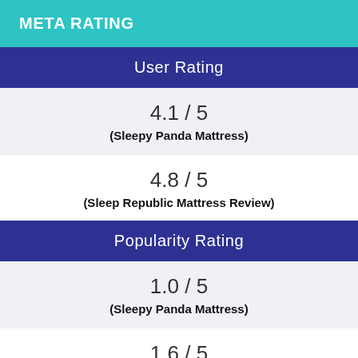META RATING
User Rating
4.1 / 5
(Sleepy Panda Mattress)
4.8 / 5
(Sleep Republic Mattress Review)
Popularity Rating
1.0 / 5
(Sleepy Panda Mattress)
1.6 / 5